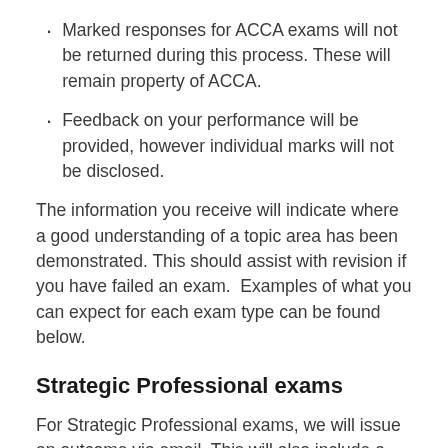Marked responses for ACCA exams will not be returned during this process. These will remain property of ACCA.
Feedback on your performance will be provided, however individual marks will not be disclosed.
The information you receive will indicate where a good understanding of a topic area has been demonstrated. This should assist with revision if you have failed an exam.  Examples of what you can expect for each exam type can be found below.
Strategic Professional exams
For Strategic Professional exams, we will issue an outcome via email. This will also include a Pass or Fail status for each complete question attempted in your examination.